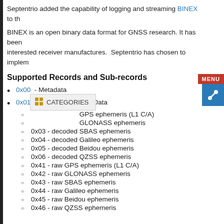Septentrio added the capability of logging and streaming BINEX to th
BINEX is an open binary data format for GNSS research. It has been interested receiver manufactures. Septentrio has chosen to implem
Supported Records and Sub-records
0x00 - Metadata
0x01 - GNSS Navigation Data
0x01 sub-record - decoded GPS ephemeris (L1 C/A)
0x02 sub-record - decoded GLONASS ephemeris
0x03 - decoded SBAS ephemeris
0x04 - decoded Galileo ephemeris
0x05 - decoded Beidou ephemeris
0x06 - decoded QZSS ephemeris
0x41 - raw GPS ephemeris (L1 C/A)
0x42 - raw GLONASS ephemeris
0x43 - raw SBAS ephemeris
0x44 - raw Galileo ephemeris
0x45 - raw Beidou ephemeris
0x46 - raw QZSS ephemeris